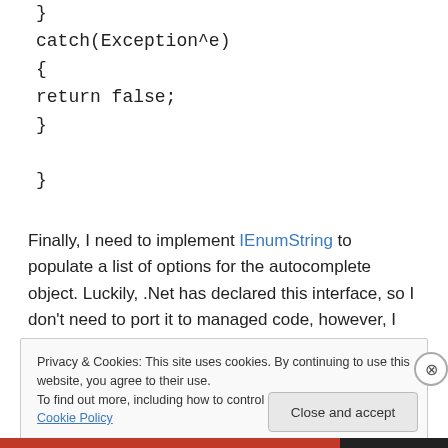}
catch(Exception^e)
{
return false;
}

}
Finally, I need to implement IEnumString to populate a list of options for the autocomplete object. Luckily, .Net has declared this interface, so I don't need to port it to managed code, however, I still need to write my binding
Privacy & Cookies: This site uses cookies. By continuing to use this website, you agree to their use.
To find out more, including how to control cookies, see here: Cookie Policy